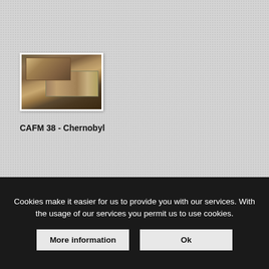[Figure (photo): Museum display exhibit photograph labeled CAFM 38 - Chernobyl, showing shelves with historical photographs and artifacts in a museum setting]
CAFM 38 - Chernobyl
Cookies make it easier for us to provide you with our services. With the usage of our services you permit us to use cookies.
More information
Ok